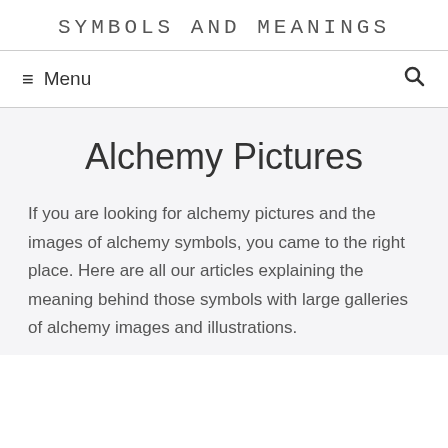SYMBOLS AND MEANINGS
≡ Menu  🔍
Alchemy Pictures
If you are looking for alchemy pictures and the images of alchemy symbols, you came to the right place. Here are all our articles explaining the meaning behind those symbols with large galleries of alchemy images and illustrations.